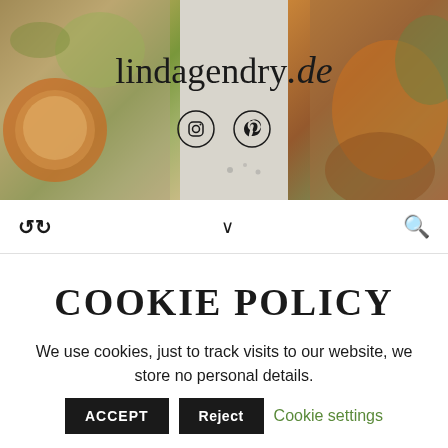[Figure (photo): Food blog header image showing colorful dishes including bowls with vegetables, sauces, and a wooden board with food. The website title 'lindagendry.de' is overlaid in the center along with two circular social media icons (Instagram and Pinterest).]
Navigation bar with retweet/share icon on left, chevron down in center, and search icon on right
COOKIE POLICY
We use cookies, just to track visits to our website, we store no personal details.
ACCEPT  Reject  Cookie settings